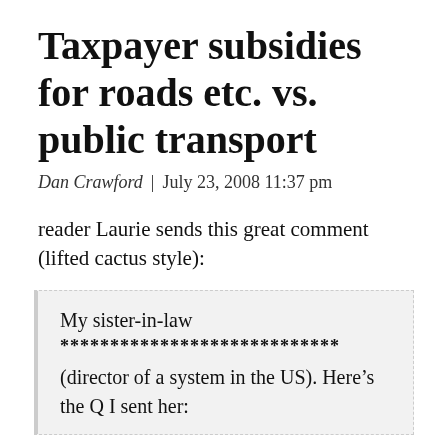Taxpayer subsidies for roads etc. vs. public transport
Dan Crawford | July 23, 2008 11:37 pm
reader Laurie sends this great comment (lifted cactus style):
My sister-in-law
****************************
(director of a system in the US). Here’s the Q I sent her: